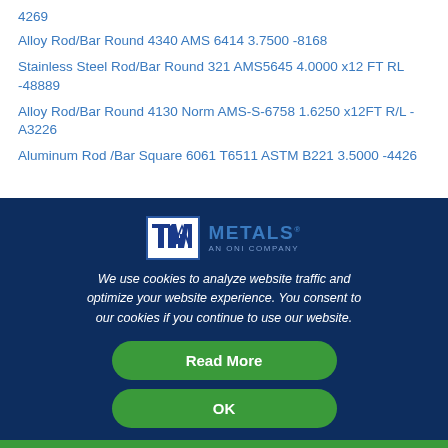4269
Alloy Rod/Bar Round 4340 AMS 6414 3.7500 -8168
Stainless Steel Rod/Bar Round 321 AMS5645 4.0000 x12 FT RL -48889
Alloy Rod/Bar Round 4130 Norm AMS-S-6758 1.6250 x12FT R/L -A3226
Aluminum Rod /Bar Square 6061 T6511 ASTM B221 3.5000 -4426
[Figure (logo): TW Metals logo — TW in blue on white box, METALS in blue text, AN ONI COMPANY subtitle]
We use cookies to analyze website traffic and optimize your website experience. You consent to our cookies if you continue to use our website.
Read More
OK